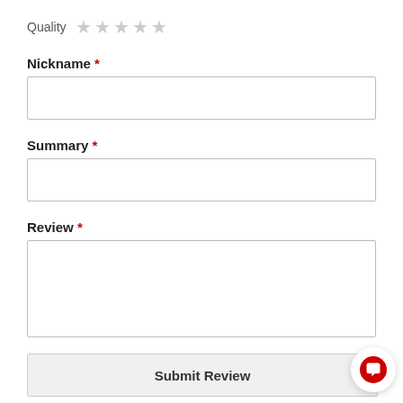Quality ★★★★★
Nickname *
[Figure (screenshot): Empty text input box for Nickname]
Summary *
[Figure (screenshot): Empty text input box for Summary]
Review *
[Figure (screenshot): Empty textarea for Review]
Submit Review
[Figure (illustration): Chat bubble icon in bottom right corner]